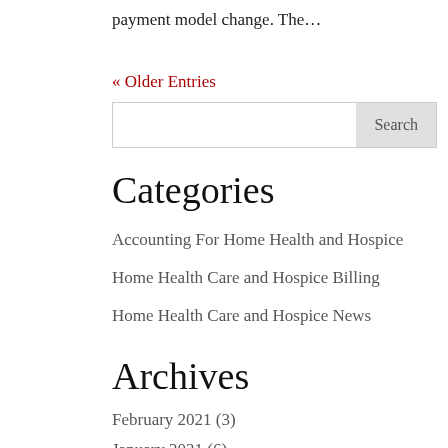payment model change. The…
« Older Entries
Categories
Accounting For Home Health and Hospice
Home Health Care and Hospice Billing
Home Health Care and Hospice News
Archives
February 2021 (3)
January 2021 (6)